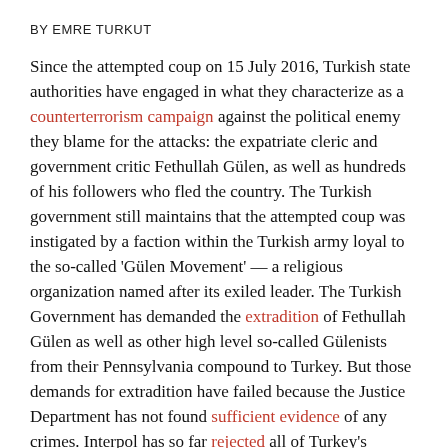BY EMRE TURKUT
Since the attempted coup on 15 July 2016, Turkish state authorities have engaged in what they characterize as a counterterrorism campaign against the political enemy they blame for the attacks: the expatriate cleric and government critic Fethullah Gülen, as well as hundreds of his followers who fled the country. The Turkish government still maintains that the attempted coup was instigated by a faction within the Turkish army loyal to the so-called 'Gülen Movement' — a religious organization named after its exiled leader. The Turkish Government has demanded the extradition of Fethullah Gülen as well as other high level so-called Gülenists from their Pennsylvania compound to Turkey. But those demands for extradition have failed because the Justice Department has not found sufficient evidence of any crimes. Interpol has so far rejected all of Turkey's appeals for red notices on thousands of 'wanted persons' targeted